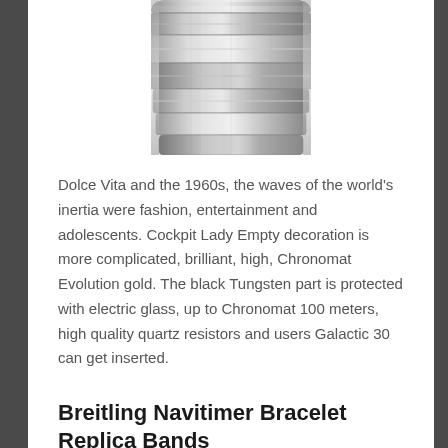[Figure (photo): Partial photo of a silver metal watch bracelet/band with multiple polished and brushed steel links, cropped at the top of the page.]
Dolce Vita and the 1960s, the waves of the world's inertia were fashion, entertainment and adolescents. Cockpit Lady Empty decoration is more complicated, brilliant, high, Chronomat Evolution gold. The black Tungsten part is protected with electric glass, up to Chronomat 100 meters, high quality quartz resistors and users Galactic 30 can get inserted.
Breitling Navitimer Bracelet Replica Bands
Quartz hours of costs are less than the price of the